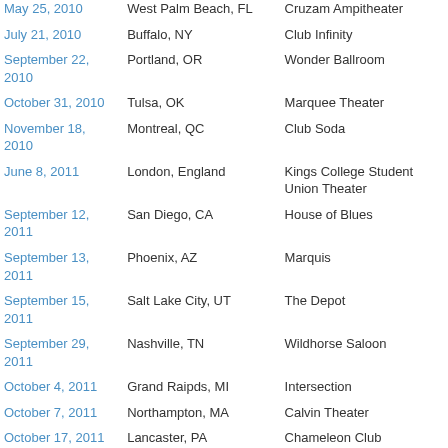| Date | Location | Venue |
| --- | --- | --- |
| May 25, 2010 | West Palm Beach, FL | Cruzam Ampitheater |
| July 21, 2010 | Buffalo, NY | Club Infinity |
| September 22, 2010 | Portland, OR | Wonder Ballroom |
| October 31, 2010 | Tulsa, OK | Marquee Theater |
| November 18, 2010 | Montreal, QC | Club Soda |
| June 8, 2011 | London, England | Kings College Student Union Theater |
| September 12, 2011 | San Diego, CA | House of Blues |
| September 13, 2011 | Phoenix, AZ | Marquis |
| September 15, 2011 | Salt Lake City, UT | The Depot |
| September 29, 2011 | Nashville, TN | Wildhorse Saloon |
| October 4, 2011 | Grand Raipds, MI | Intersection |
| October 7, 2011 | Northampton, MA | Calvin Theater |
| October 17, 2011 | Lancaster, PA | Chameleon Club |